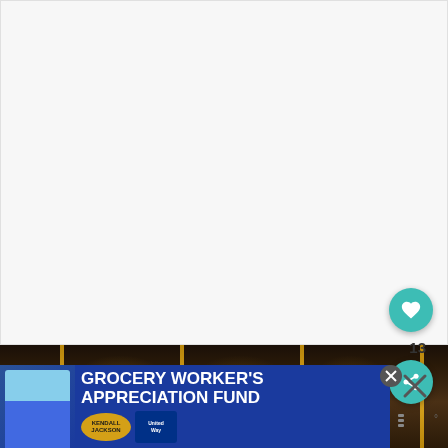[Figure (screenshot): White/light grey blank content area taking up approximately top 77% of the page, representing a web page with empty content above the fold]
[Figure (photo): Dark photograph of an ornate interior hall or palace room with gilded columns, decorative ceiling, warm golden lighting, and rich red/gold furnishings]
[Figure (infographic): Teal circular heart button (like/favorite button) with heart icon, positioned right side]
13
[Figure (infographic): Teal circular share button with share icon, positioned right side]
[Figure (infographic): Advertisement banner: GROCERY WORKER'S APPRECIATION FUND in large white bold text on blue background, with Kendall-Jackson and United Way logos, and a person in blue shirt on left side. Close button visible.]
[Figure (infographic): X close button on right side of screen outside ad, and weather/menu icons below it]